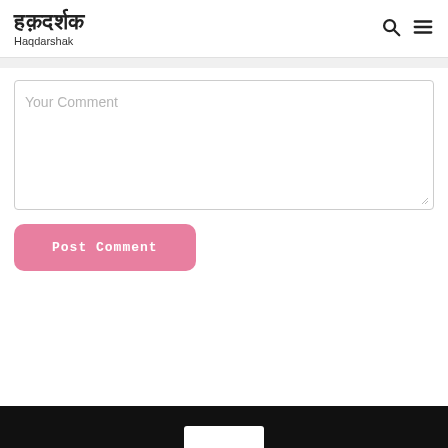हक़दर्शक Haqdarshak
Your Comment
Post Comment